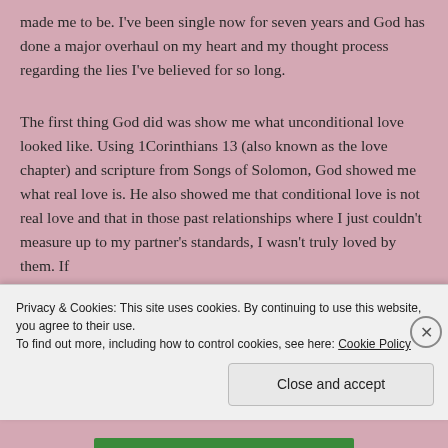made me to be. I've been single now for seven years and God has done a major overhaul on my heart and my thought process regarding the lies I've believed for so long.
The first thing God did was show me what unconditional love looked like.  Using 1Corinthians 13 (also known as the love chapter) and scripture from Songs of Solomon, God showed me what real love is.  He also showed me that conditional love is not real love and that in those past relationships where I just couldn't measure up to my partner's standards, I wasn't truly loved by them.  If
Privacy & Cookies: This site uses cookies. By continuing to use this website, you agree to their use.
To find out more, including how to control cookies, see here: Cookie Policy
Close and accept